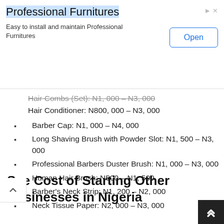[Figure (other): Advertisement banner for Professional Furnitures with an Open button]
Hair Combs (Set): N1,000 – N3,000 (partially visible, cut off)
Hair Conditioner: N800,000 – N3,000
Barber Cap: N1,000 – N4,000
Long Shaving Brush with Powder Slot: N1,500 – N3,000
Professional Barbers Duster Brush: N1,000 – N3,000
Human Hair Brush: N500 – N1,500
Barber's Neck Strip: N1,200 – N2,000
Neck Tissue Paper: N2,000 – N3,000
See Cost of Starting Other Businesses in Nigeria